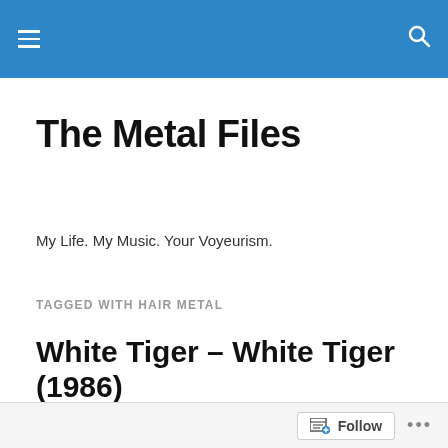The Metal Files — site header bar with hamburger menu and search icon
The Metal Files
My Life. My Music. Your Voyeurism.
TAGGED WITH HAIR METAL
White Tiger – White Tiger (1986)
Here's one that I used to have on vinyl.  Some dude hooked me up with this when we were in high school.  I loved Mark's
Follow ...